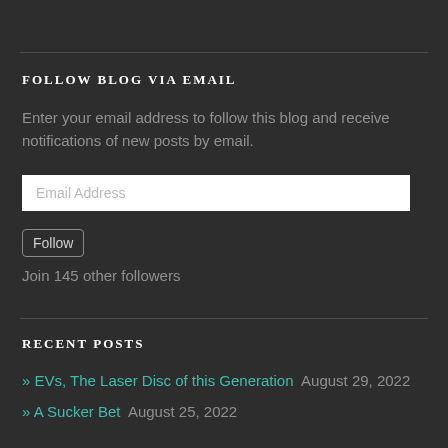FOLLOW BLOG VIA EMAIL
Enter your email address to follow this blog and receive notifications of new posts by email.
Email Address
Follow
Join 145 other followers
RECENT POSTS
» EVs, The Laser Disc of this Generation  August 29, 2022
» A Sucker Bet  August 25, 2022